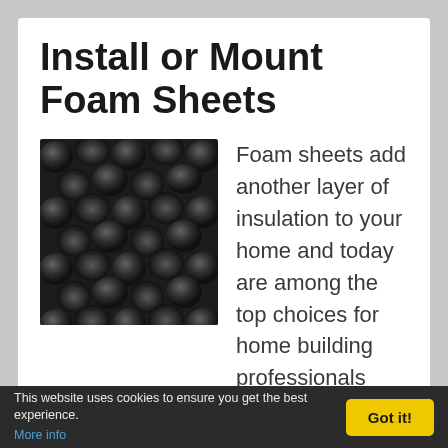Install or Mount Foam Sheets
[Figure (photo): Close-up photo of dark gray convoluted foam sheeting with egg-crate pattern texture]
Foam sheets add another layer of insulation to your home and today are among the top choices for home building professionals due to their efficiency. They are also easy to install and mount. The rigid foam sheets contain two layers of paper backing and an inner core of foam. This composition blocks cold air drafts [...]
This website uses cookies to ensure you get the best experience. More info  Got it!